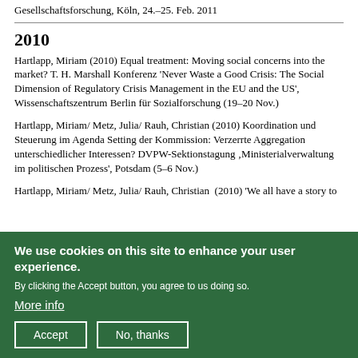Gesellschaftsforschung, Köln, 24.–25. Feb. 2011
2010
Hartlapp, Miriam (2010) Equal treatment: Moving social concerns into the market? T. H. Marshall Konferenz 'Never Waste a Good Crisis: The Social Dimension of Regulatory Crisis Management in the EU and the US', Wissenschaftszentrum Berlin für Sozialforschung (19–20 Nov.)
Hartlapp, Miriam/ Metz, Julia/ Rauh, Christian (2010) Koordination und Steuerung im Agenda Setting der Kommission: Verzerrte Aggregation unterschiedlicher Interessen? DVPW-Sektionstagung 'Ministerialverwaltung im politischen Prozess', Potsdam (5–6 Nov.)
Hartlapp, Miriam/ Metz, Julia/ Rauh, Christian  (2010) 'We all have a story to tell': Legislation with information...
We use cookies on this site to enhance your user experience.

By clicking the Accept button, you agree to us doing so.
More info
Accept    No, thanks